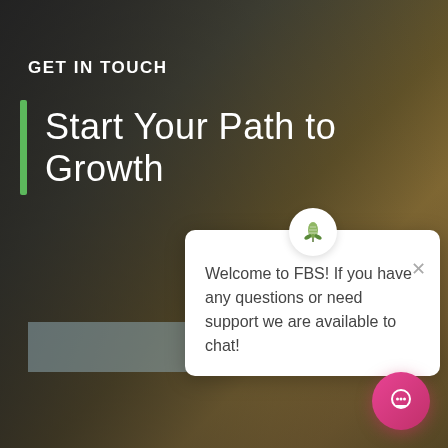[Figure (photo): Background photo of a golden wheat field under a dark overcast sky, with dark gradient overlay on the left side]
GET IN TOUCH
Start Your Path to Growth
CONTA...
Welcome to FBS! If you have any questions or need support we are available to chat!